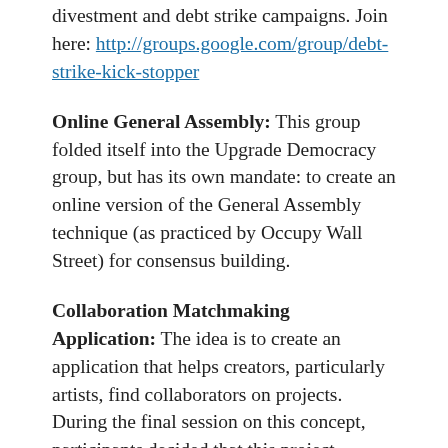divestment and debt strike campaigns. Join here: http://groups.google.com/group/debt-strike-kick-stopper
Online General Assembly: This group folded itself into the Upgrade Democracy group, but has its own mandate: to create an online version of the General Assembly technique (as practiced by Occupy Wall Street) for consensus building.
Collaboration Matchmaking Application: The idea is to create an application that helps creators, particularly artists, find collaborators on projects. During the final session on this concept, participants decided that this project